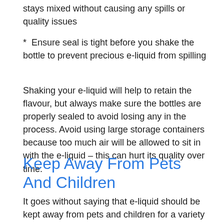stays mixed without causing any spills or quality issues
*  Ensure seal is tight before you shake the bottle to prevent precious e-liquid from spilling
Shaking your e-liquid will help to retain the flavour, but always make sure the bottles are properly sealed to avoid losing any in the process. Avoid using large storage containers because too much air will be allowed to sit in with the e-liquid – this can hurt its quality over time.
Keep Away From Pets And Children
It goes without saying that e-liquid should be kept away from pets and children for a variety of reasons. Consider the following: